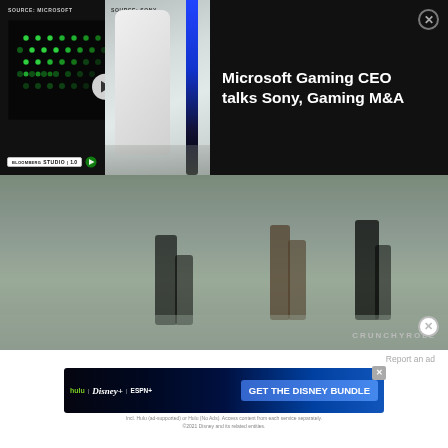[Figure (screenshot): Video overlay card showing Xbox Series X (left, with hexagonal grille and green LEDs, SOURCE: MICROSOFT label) and PS5 (right, white console with blue accent strip, SOURCE: SONY label), with a play button in the center of the left panel. Below the logos area is a Bloomberg Studio 1.0 badge. Right panel shows text title on black background with close X button.]
Microsoft Gaming CEO talks Sony, Gaming M&A
[Figure (screenshot): Video frame showing dark grey/teal background with people's legs and feet visible, CRUNCHYROLL watermark at bottom right]
[Figure (screenshot): Disney Bundle advertisement banner: hulu | Disney+ | ESPN+ with GET THE DISNEY BUNDLE button, with close X badge. Subtext: Incl. Hulu (ad-supported) or Hulu (No Ads). Access content from each service separately. ©2021 Disney and its related entities.]
Report an ad